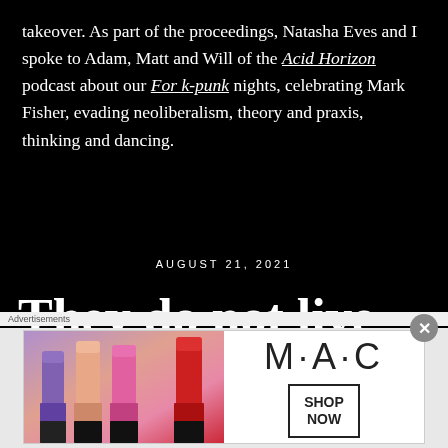takeover. As part of the proceedings, Natasha Eves and I spoke to Adam, Matt and Will of the Acid Horizon podcast about our For k-punk nights, celebrating Mark Fisher, evading neoliberalism, theory and praxis, thinking and dancing.
AUGUST 21, 2021
They do not live nature
[Figure (infographic): MAC cosmetics advertisement showing lipsticks on left side with MAC logo and SHOP NOW button in a box on right side]